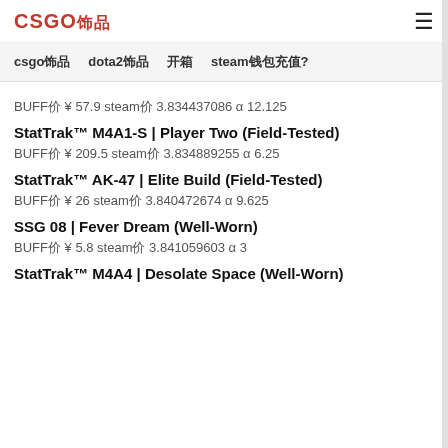CSGO饰品 (logo) + hamburger menu
csgo饰品   dota2饰品   开箱   steam钱包充值?
BUFF价 ¥ 57.9 steam价 3.834437086 α 12.125
StatTrak™ M4A1-S | Player Two (Field-Tested)
BUFF价 ¥ 209.5 steam价 3.834889255 α 6.25
StatTrak™ AK-47 | Elite Build (Field-Tested)
BUFF价 ¥ 26 steam价 3.840472674 α 9.625
SSG 08 | Fever Dream (Well-Worn)
BUFF价 ¥ 5.8 steam价 3.841059603 α 3
StatTrak™ M4A4 | Desolate Space (Well-Worn)